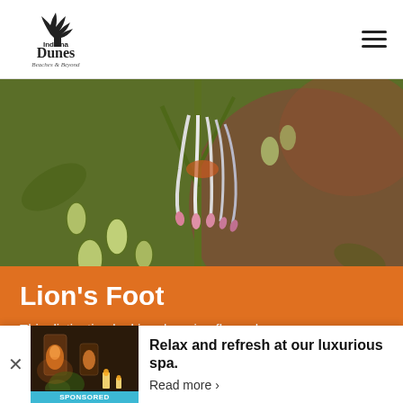[Figure (logo): Indiana Dunes Beaches & Beyond logo — tree silhouette above text]
[Figure (photo): Close-up photo of drooping bell-shaped flowers (Lion's Foot) with green stems and buds on blurred orange-brown background]
Lion's Foot
This distinctive-looking drooping flower has many
[Figure (photo): Sponsored advertisement showing spa/outdoor dining scene with candles and lanterns]
Relax and refresh at our luxurious spa.
Read more ›